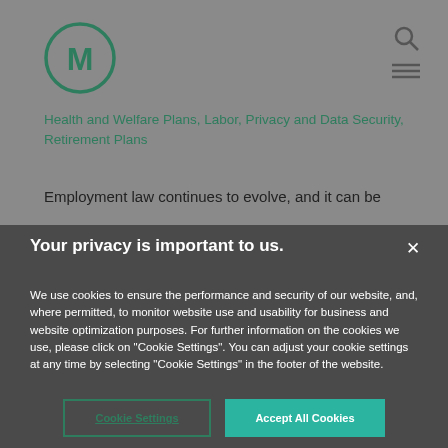[Figure (logo): Circular logo with letter M in dark green]
Health and Welfare Plans, Labor, Privacy and Data Security, Retirement Plans
Employment law continues to evolve, and it can be
Your privacy is important to us.
We use cookies to ensure the performance and security of our website, and, where permitted, to monitor website use and usability for business and website optimization purposes. For further information on the cookies we use, please click on "Cookie Settings". You can adjust your cookie settings at any time by selecting "Cookie Settings" in the footer of the website.
Cookie Settings | Accept All Cookies